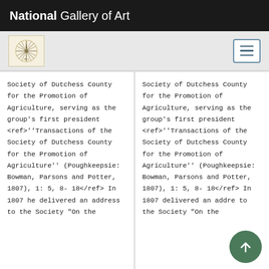National Gallery of Art
Society of Dutchess County for the Promotion of Agriculture, serving as the group’s first president <ref>''Transactions of the Society of Dutchess County for the Promotion of Agriculture'' (Poughkeepsie: Bowman, Parsons and Potter, 1807), 1: 5, 8-18</ref> In 1807 he delivered an address to the Society “On the
Society of Dutchess County for the Promotion of Agriculture, serving as the group’s first president <ref>''Transactions of the Society of Dutchess County for the Promotion of Agriculture'' (Poughkeepsie: Bowman, Parsons and Potter, 1807), 1: 5, 8-18</ref> In 1807 he delivered an addre to the Society “On the